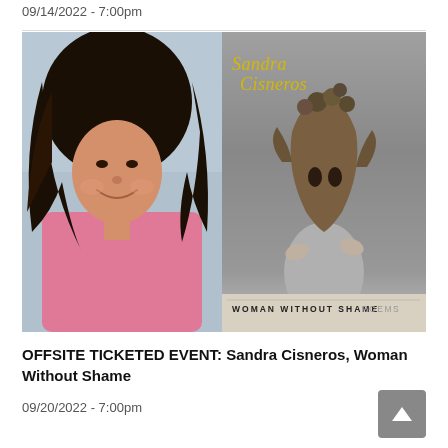09/14/2022 - 7:00pm
[Figure (photo): Left side: photo of Sandra Cisneros, a woman with long flowing dark hair and a pink top, smiling. Right side: book cover of 'Woman Without Shame: Poems' by Sandra Cisneros in yellow cursive on gray background, with an image of a person holding a large leaf mask in front of their face.]
OFFSITE TICKETED EVENT: Sandra Cisneros, Woman Without Shame
09/20/2022 - 7:00pm